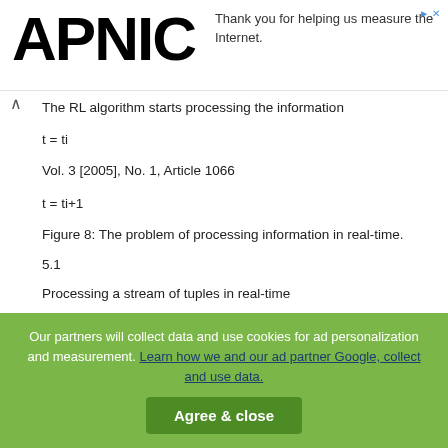APNIC — Thank you for helping us measure the Internet.
The RL algorithm starts processing the information
Vol. 3 [2005], No. 1, Article 1066
Figure 8: The problem of processing information in real-time.
5.1
Processing a stream of tuples in real-time
Figure 8 depicts graphically the idea of real-time processing. A system (or an environment) produces a stream of
Our partners will collect data and use cookies for ad personalization and measurement. Learn how we and our ad partner Google, collect and use data.